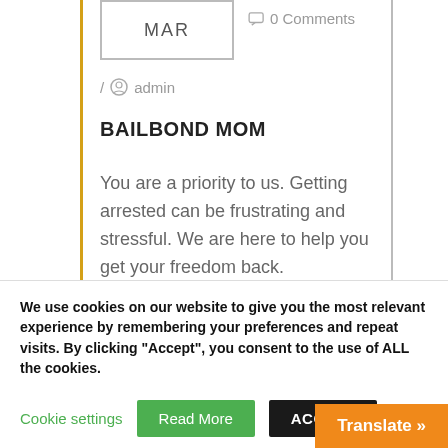MAR / 0 Comments
/ admin
BAILBOND MOM
You are a priority to us. Getting arrested can be frustrating and stressful. We are here to help you get your freedom back.
We use cookies on our website to give you the most relevant experience by remembering your preferences and repeat visits. By clicking “Accept”, you consent to the use of ALL the cookies.
Do not sell my personal information.
Cookie settings  Read More  ACCEPT
Translate »